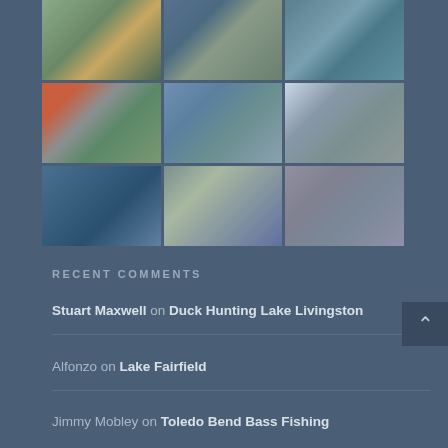[Figure (photo): 3x3 grid of fishing photos showing people holding large bass fish, on boats and at water]
RECENT COMMENTS
Stuart Maxwell on Duck Hunting Lake Livingston
Alfonzo on Lake Fairfield
Jimmy Mobley on Toledo Bend Bass Fishing